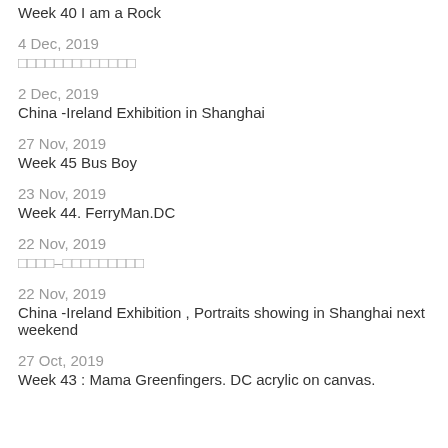Week 40 I am a Rock
4 Dec, 2019
□□□□□□□□□□□□□
2 Dec, 2019
China -Ireland Exhibition in Shanghai
27 Nov, 2019
Week 45 Bus Boy
23 Nov, 2019
Week 44. FerryMan.DC
22 Nov, 2019
□□□□–□□□□□□□□□
22 Nov, 2019
China -Ireland Exhibition , Portraits showing in Shanghai next weekend
27 Oct, 2019
Week 43 : Mama Greenfingers. DC acrylic on canvas.